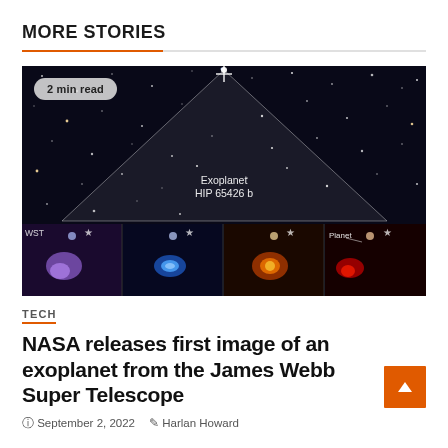MORE STORIES
[Figure (photo): NASA James Webb Space Telescope image of Exoplanet HIP 65426 b. Top portion shows a starfield with a white triangular overlay pointing at a label reading 'Exoplanet HIP 65426 b'. Bottom portion shows four sub-images of the planet in different wavelengths: purple/blue, blue with rings, orange/yellow, and red, each with a star marker and one labeled 'Planet'.]
2 min read
TECH
NASA releases first image of an exoplanet from the James Webb Super Telescope
September 2, 2022   Harlan Howard